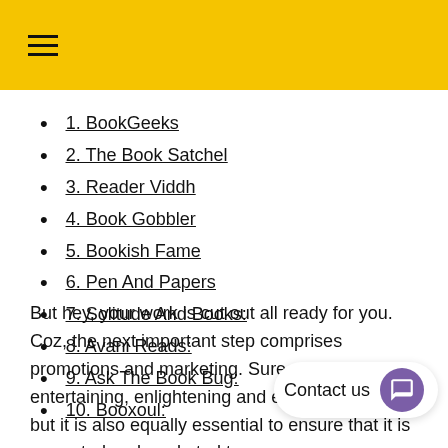≡
1. BookGeeks
2. The Book Satchel
3. Reader Viddh
4. Book Gobbler
5. Bookish Fame
6. Pen And Papers
7. Solitude And Books:
8. Avani Reads:
9. Ask The Book Bug:
10. Booxoul:
But hey, your work is cut out all ready for you. Coz, the next important step comprises promotions and marketing. Sure, you create entertaining, enlightening and error-free content, but it is also equally essential to ensure that it is promoted and marketed to